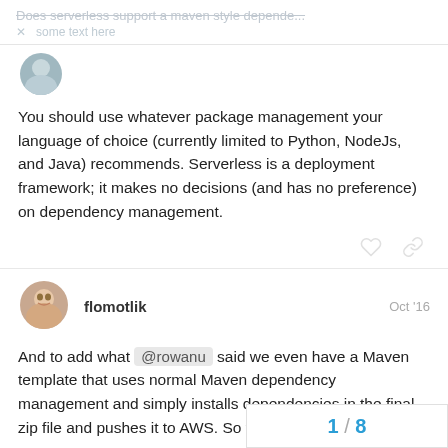Does serverless support a maven style depende...
[Figure (photo): Partial avatar image at top left]
You should use whatever package management your language of choice (currently limited to Python, NodeJs, and Java) recommends. Serverless is a deployment framework; it makes no decisions (and has no preference) on dependency management.
flomotlik  Oct '16
[Figure (photo): Avatar of user flomotlik, male face smiling]
And to add what @rowanu said we even have a Maven template that uses normal Maven dependency management and simply installs dependencies in the final zip file and pushes it to AWS. So you should be all set.
1 / 8